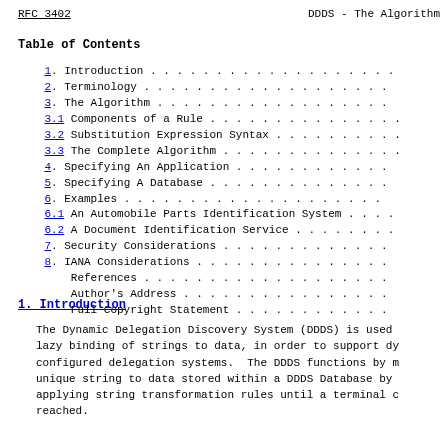RFC 3402    DDDS - The Algorithm
Table of Contents
1.  Introduction . . . . . . . . . . . . . . . . . . .
2.  Terminology . . . . . . . . . . . . . . . . . . .
3.  The Algorithm . . . . . . . . . . . . . . . . . .
3.1 Components of a Rule . . . . . . . . . . . . . . .
3.2 Substitution Expression Syntax . . . . . . . . . .
3.3 The Complete Algorithm . . . . . . . . . . . . . .
4.  Specifying An Application . . . . . . . . . . . .
5.  Specifying A Database . . . . . . . . . . . . . .
6.  Examples . . . . . . . . . . . . . . . . . . . .
6.1 An Automobile Parts Identification System . . . .
6.2 A Document Identification Service . . . . . . . .
7.  Security Considerations . . . . . . . . . . . . .
8.  IANA Considerations . . . . . . . . . . . . . . .
References . . . . . . . . . . . . . . . . . . .
Author's Address . . . . . . . . . . . . . . . .
Full Copyright Statement . . . . . . . . . . . .
1. Introduction
The Dynamic Delegation Discovery System (DDDS) is used lazy binding of strings to data, in order to support dy configured delegation systems.  The DDDS functions by m unique string to data stored within a DDDS Database by applying string transformation rules until a terminal c reached.